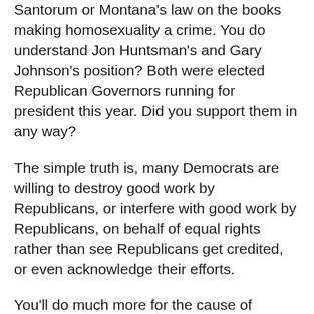Santorum or Montana's law on the books making homosexuality a crime. You do understand Jon Huntsman's and Gary Johnson's position? Both were elected Republican Governors running for president this year. Did you support them in any way?
The simple truth is, many Democrats are willing to destroy good work by Republicans, or interfere with good work by Republicans, on behalf of equal rights rather than see Republicans get credited, or even acknowledge their efforts.
You'll do much more for the cause of individual rights if you concentrate on electing people of both parties who support the basic Lockean